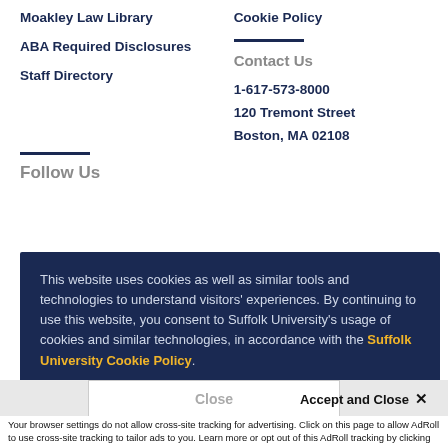Moakley Law Library
ABA Required Disclosures
Staff Directory
Cookie Policy
Contact Us
1-617-573-8000
120 Tremont Street
Boston, MA 02108
Follow Us
This website uses cookies as well as similar tools and technologies to understand visitors' experiences. By continuing to use this website, you consent to Suffolk University's usage of cookies and similar technologies, in accordance with the Suffolk University Cookie Policy.
Close
Accept and Close ✕
Your browser settings do not allow cross-site tracking for advertising. Click on this page to allow AdRoll to use cross-site tracking to tailor ads to you. Learn more or opt out of this AdRoll tracking by clicking here. This message only appears once.